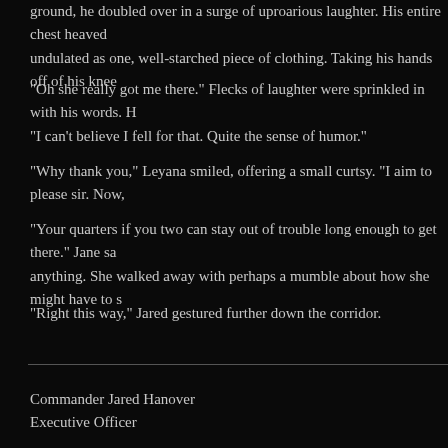ground, he doubled over in a surge of uproarious laughter. His entire chest heaved undulated as one, well-starched piece of clothing. Taking his hands off of his knee
"Oh she really got me there." Flecks of laughter were sprinkled in with his words. H "I can't believe I fell for that. Quite the sense of humor."
"Why thank you," Leyana smiled, offering a small curtsy. "I aim to please sir. Now,
"Your quarters if you two can stay out of trouble long enough to get there." Jane sa anything. She walked away with perhaps a mumble about how she might have to s
"Right this way," Jared gestured further down the corridor.
Commander Jared Hanover
Executive Officer
Captain Jane Saulitis
Commanding Officer
Cassandra Leblanc-Reed
Chief Diplomat